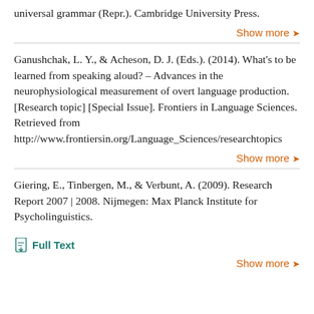universal grammar (Repr.). Cambridge University Press.
Show more
Ganushchak, L. Y., & Acheson, D. J. (Eds.). (2014). What's to be learned from speaking aloud? – Advances in the neurophysiological measurement of overt language production. [Research topic] [Special Issue]. Frontiers in Language Sciences. Retrieved from http://www.frontiersin.org/Language_Sciences/researchtopics
Show more
Giering, E., Tinbergen, M., & Verbunt, A. (2009). Research Report 2007 | 2008. Nijmegen: Max Planck Institute for Psycholinguistics.
Full Text
Show more